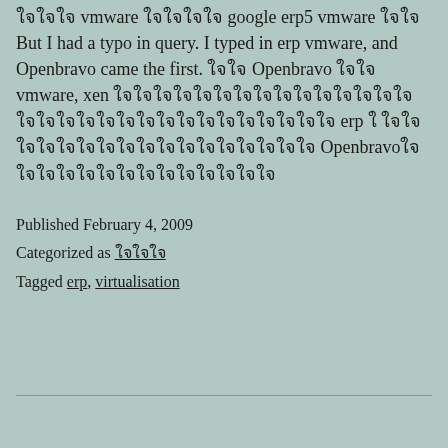ใจใจใจ vmware ใจใจใจใจ google erp5 vmware ใจใจ But I had a typo in query. I typed in erp vmware, and Openbravo came the first. ใจใจ Openbravo ใจใจ vmware, xen ใจใจใจใจใจใจใจใจใจใจใจใจใจใจใจใจใจใจใจใจใจใจใจใจใจใจใจใจใจใจใจ erp ใ ใจใจใจใจใจใจใจใจใจใจใจใจใจใจใจใจใจ Openbravoใจใจใจใจใจใจใจใจใจใจใจใจใจใจ
Published February 4, 2009
Categorized as ใจใจใจ
Tagged erp, virtualisation